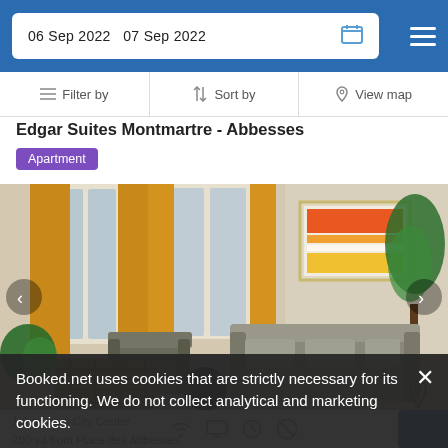06 Sep 2022  07 Sep 2022
Filter by  Sort by  View map
Edgar Suites Montmartre - Abbesses
Apartment
[Figure (photo): Modern apartment living room with golden yellow curtains, grey sofa, abstract colorful wall art, indoor plant, and rattan chair]
1.8 mi from City Center
200 yd from Place des Abbesses
Booked.net uses cookies that are strictly necessary for its functioning. We do not collect analytical and marketing cookies.